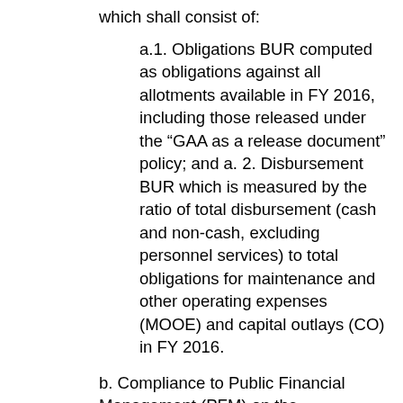which shall consist of:
a.1. Obligations BUR computed as obligations against all allotments available in FY 2016, including those released under the “GAA as a release document” policy; and a. 2. Disbursement BUR which is measured by the ratio of total disbursement (cash and non-cash, excluding personnel services) to total obligations for maintenance and other operating expenses (MOOE) and capital outlays (CO) in FY 2016.
b. Compliance to Public Financial Management (PFM) on the